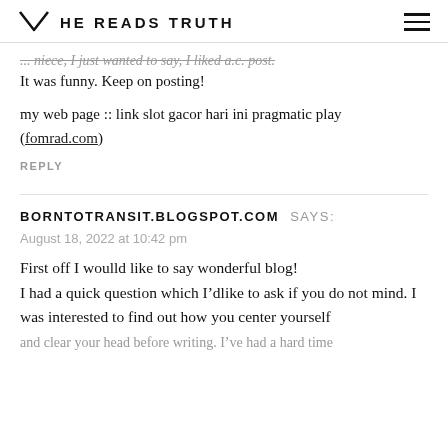HE READS TRUTH
... niece, I just wanted to say, I liked a.c. post.
It was funny. Keep on posting!
my web page :: link slot gacor hari ini pragmatic play (fomrad.com)
REPLY
BORNTOTRANSIT.BLOGSPOT.COM SAYS:
August 18, 2022 at 10:42 pm
First off I woulld like to say wonderful blog! I had a quick question which I’dlike to ask if you do not mind. I was interested to find out how you center yourself
and clear your head before writing. I’ve had a hard time